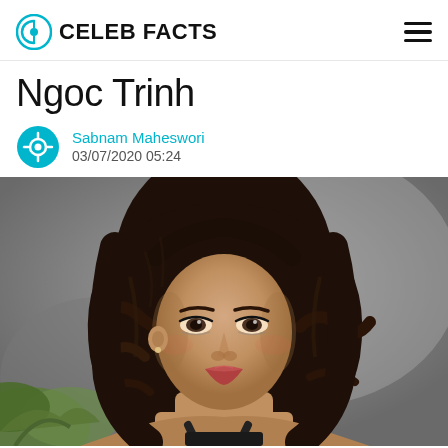CELEB FACTS
Ngoc Trinh
Sabnam Maheswori
03/07/2020 05:24
[Figure (photo): Portrait photo of Ngoc Trinh, a Vietnamese model/celebrity with long dark wavy hair, looking at the camera, with a blurred grey background and some green foliage in the lower left.]